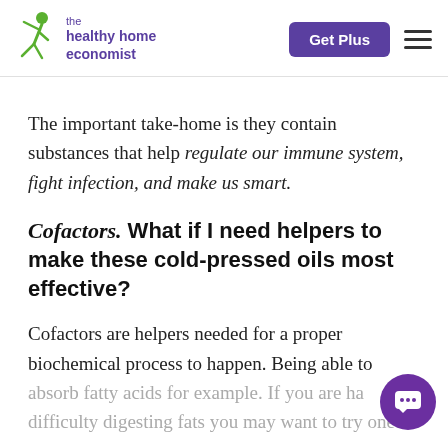the healthy home economist | Get Plus
The important take-home is they contain substances that help regulate our immune system, fight infection, and make us smart.
Cofactors. What if I need helpers to make these cold-pressed oils most effective?
Cofactors are helpers needed for a proper biochemical process to happen. Being able to absorb fatty acids for example. If you are having difficulty digesting fats you may want to try one or